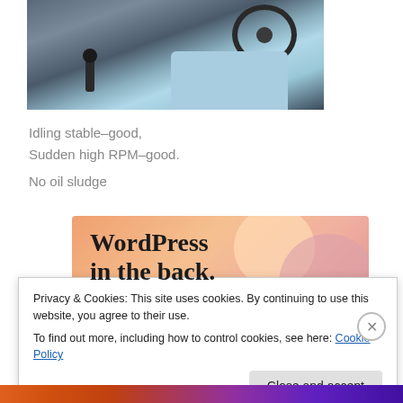[Figure (photo): Car interior showing steering wheel, gear shift, and blue upholstered seat/cushion]
Idling stable–good,
Sudden high RPM–good.
No oil sludge
[Figure (screenshot): WordPress advertisement banner reading 'WordPress in the back.' with orange/peach gradient background and decorative circles]
Privacy & Cookies: This site uses cookies. By continuing to use this website, you agree to their use.
To find out more, including how to control cookies, see here: Cookie Policy
[Figure (screenshot): Colorful bottom strip banner, partially visible]